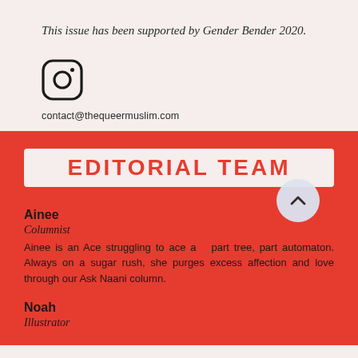This issue has been supported by Gender Bender 2020.
[Figure (logo): Instagram logo icon (camera outline in black on light background)]
contact@thequeermuslim.com
EDITORIAL TEAM
Ainee
Columnist
Ainee is an Ace struggling to ace a… part tree, part automaton. Always on a sugar rush, she purges excess affection and love through our Ask Naani column.
Noah
Illustrator